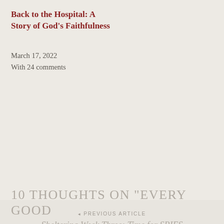Back to the Hospital: A Story of God’s Faithfulness
March 17, 2022
With 24 comments
◄ PREVIOUS ARTICLE
Sheltering Week Three: Time for SPIES
NEXT ARTICLE ▸
Special – Or Not?
10 THOUGHTS ON “EVERY GOOD